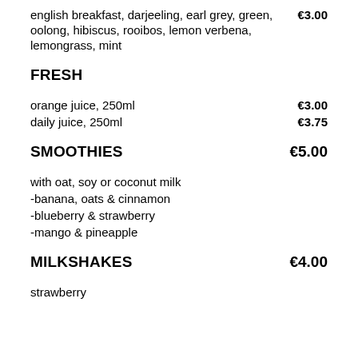english breakfast, darjeeling, earl grey, green, oolong, hibiscus, rooibos, lemon verbena, lemongrass, mint    €3.00
FRESH
orange juice, 250ml    €3.00
daily juice, 250ml    €3.75
SMOOTHIES    €5.00
with oat, soy or coconut milk
-banana, oats & cinnamon
-blueberry & strawberry
-mango & pineapple
MILKSHAKES    €4.00
strawberry